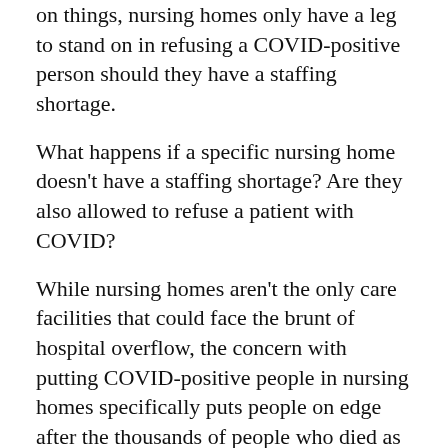on things, nursing homes only have a leg to stand on in refusing a COVID-positive person should they have a staffing shortage.
What happens if a specific nursing home doesn't have a staffing shortage? Are they also allowed to refuse a patient with COVID?
While nursing homes aren't the only care facilities that could face the brunt of hospital overflow, the concern with putting COVID-positive people in nursing homes specifically puts people on edge after the thousands of people who died as a result of similar policies in New York and Michigan, among select other places.
For example, in New York, the Department of Health under disgraced former Gov. Andrew Cuomo was found to have underreported nursing home deaths during the pandemic by thousands.
As reported by the New York Post almost a year ago: